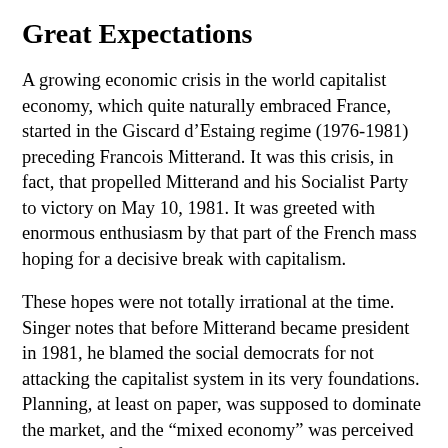Great Expectations
A growing economic crisis in the world capitalist economy, which quite naturally embraced France, started in the Giscard d’Estaing regime (1976-1981) preceding Francois Mitterand. It was this crisis, in fact, that propelled Mitterand and his Socialist Party to victory on May 10, 1981. It was greeted with enormous enthusiasm by that part of the French mass hoping for a decisive break with capitalism.
These hopes were not totally irrational at the time. Singer notes that before Mitterand became president in 1981, he blamed the social democrats for not attacking the capitalist system in its very foundations. Planning, at least on paper, was supposed to dominate the market, and the “mixed economy” was perceived as a period of transition, however slow, toward a different society. During the first year of Mitterand’s reign, significant changes...